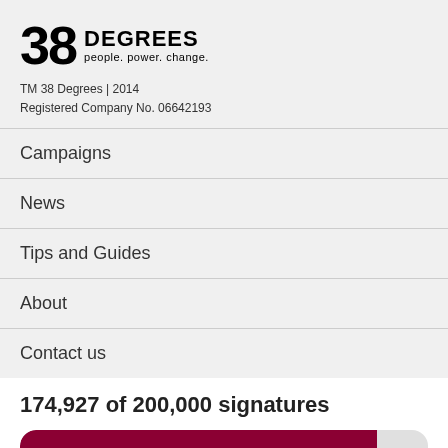[Figure (logo): 38 Degrees logo with tagline 'people. power. change.']
TM 38 Degrees | 2014
Registered Company No. 06642193
Campaigns
News
Tips and Guides
About
Contact us
174,927 of 200,000 signatures
[Figure (infographic): Progress bar showing 174,927 of 200,000 signatures (~87.5% filled in dark red)]
SIGN